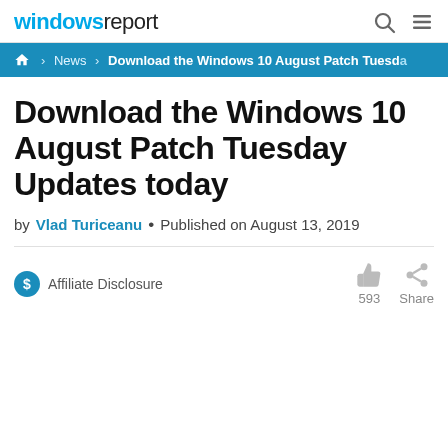windowsreport
Home › News › Download the Windows 10 August Patch Tuesday Updates today
Download the Windows 10 August Patch Tuesday Updates today
by Vlad Turiceanu • Published on August 13, 2019
Affiliate Disclosure
593 Share